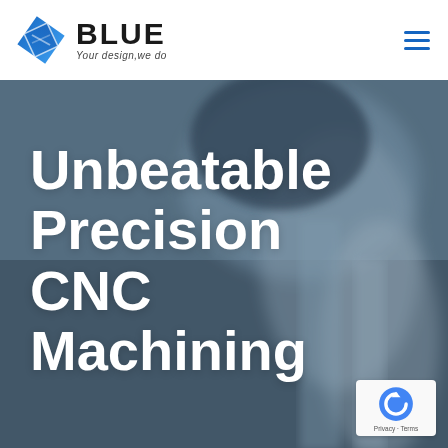[Figure (logo): Blue company logo with diamond-shaped icon and 'BLUE / Your design, we do' text]
[Figure (photo): Background photo of CNC machining equipment, blurred blue-grey tones]
Unbeatable Precision CNC Machining
[Figure (logo): reCAPTCHA badge with Privacy and Terms links]